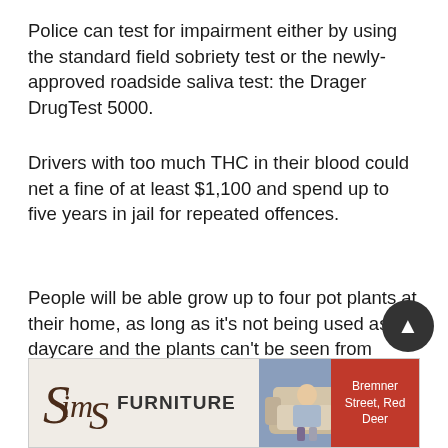Police can test for impairment either by using the standard field sobriety test or the newly-approved roadside saliva test: the Drager DrugTest 5000.
Drivers with too much THC in their blood could net a fine of at least $1,100 and spend up to five years in jail for repeated offences.
People will be able grow up to four pot plants at their home, as long as it's not being used as a daycare and the plants can't be seen from outside.
Many strata and apartments have imposed their own rules about whether pot plants can be grown on their property
[Figure (other): Advertisement banner for Sims Furniture showing logo with cursive Sims text, FURNITURE in bold, a photo of two people sitting on a sofa, and red box with text Bremner Street, Red Deer]